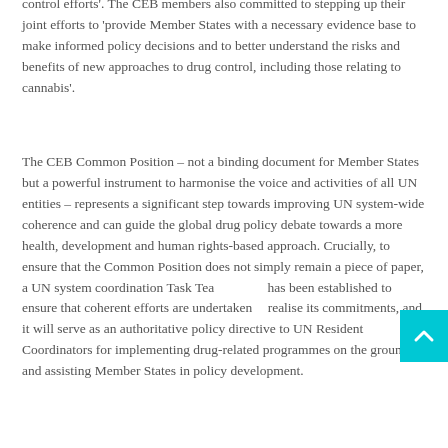control efforts'. The CEB members also committed to stepping up their joint efforts to 'provide Member States with a necessary evidence base to make informed policy decisions and to better understand the risks and benefits of new approaches to drug control, including those relating to cannabis'.
The CEB Common Position – not a binding document for Member States but a powerful instrument to harmonise the voice and activities of all UN entities – represents a significant step towards improving UN system-wide coherence and can guide the global drug policy debate towards a more health, development and human rights-based approach. Crucially, to ensure that the Common Position does not simply remain a piece of paper, a UN system coordination Task Team has been established to ensure that coherent efforts are undertaken to realise its commitments, and it will serve as an authoritative policy directive to UN Resident Coordinators for implementing drug-related programmes on the ground and assisting Member States in policy development.